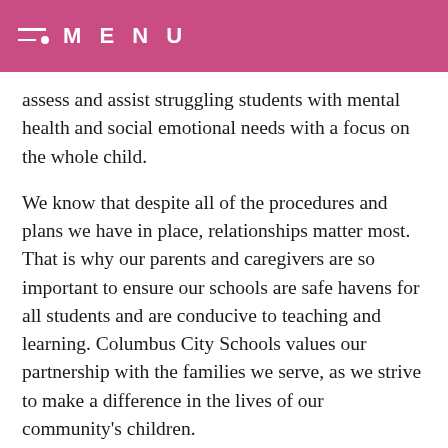MENU
assess and assist struggling students with mental health and social emotional needs with a focus on the whole child.
We know that despite all of the procedures and plans we have in place, relationships matter most. That is why our parents and caregivers are so important to ensure our schools are safe havens for all students and are conducive to teaching and learning. Columbus City Schools values our partnership with the families we serve, as we strive to make a difference in the lives of our community's children.
Here are just a few ways that parents and caregivers can support their students at home:
Talk to your child often and ask questions